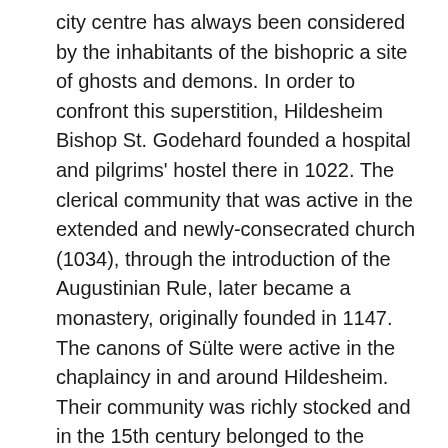city centre has always been considered by the inhabitants of the bishopric a site of ghosts and demons. In order to confront this superstition, Hildesheim Bishop St. Godehard founded a hospital and pilgrims' hostel there in 1022. The clerical community that was active in the extended and newly-consecrated church (1034), through the introduction of the Augustinian Rule, later became a monastery, originally founded in 1147. The canons of Sülte were active in the chaplaincy in and around Hildesheim. Their community was richly stocked and in the 15th century belonged to the Union of the Seven Chapters in Hildesheim, in which the most influential organisations of the bishopric united to preserve their interests.

In 1439 the Dutch Augustinian canon Johannes